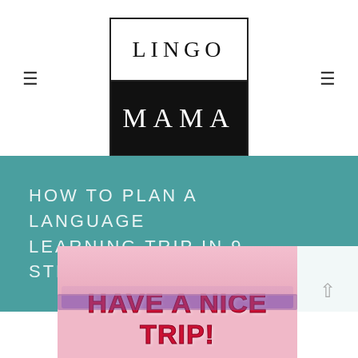LINGO MAMA
HOW TO PLAN A LANGUAGE LEARNING TRIP IN 9 STEPS
[Figure (photo): Photo of a person in front of a pink Hello Kitty themed display with illuminated letters reading HAVE A NICE TRIP!]